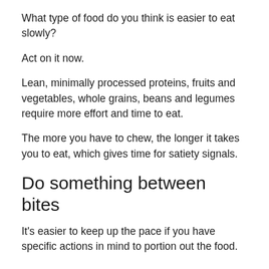What type of food do you think is easier to eat slowly?
Act on it now.
Lean, minimally processed proteins, fruits and vegetables, whole grains, beans and legumes require more effort and time to eat.
The more you have to chew, the longer it takes you to eat, which gives time for satiety signals.
Do something between bites
It's easier to keep up the pace if you have specific actions in mind to portion out the food.